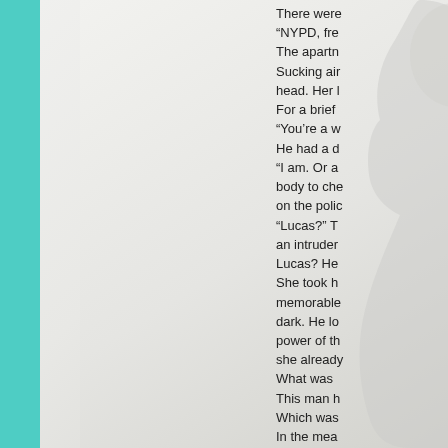[Figure (illustration): A teal/cyan vertical stripe on the far left edge of the page, next to a large illustrated background showing a pale gray gradient with a faint silhouette figure in the center-left area.]
There were
“NYPD, fre
The apartn
Sucking air
head. Her l
For a brief
“You’re a w
He had a d
“I am. Or a
body to ch
on the poli
“Lucas?” T
an intruder
Lucas? He
She took h
memorable
dark. He lo
power of th
she alread
What was 
This man h
Which was
In the mea
What was 
“She’s the